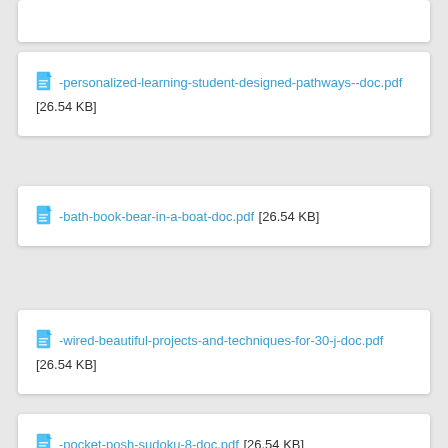-personalized-learning-student-designed-pathways--doc.pdf [26.54 KB]
-bath-book-bear-in-a-boat-doc.pdf [26.54 KB]
-wired-beautiful-projects-and-techniques-for-30-j-doc.pdf [26.54 KB]
-pocket-posh-sudoku-8-doc.pdf [26.54 KB]